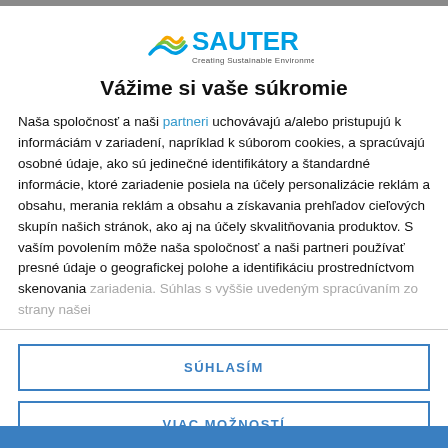[Figure (logo): SAUTER logo with wave icon and tagline 'Creating Sustainable Environments.']
Vážime si vaše súkromie
Naša spoločnosť a naši partneri uchovávajú a/alebo pristupujú k informáciám v zariadení, napríklad k súborom cookies, a spracúvajú osobné údaje, ako sú jedinečné identifikátory a štandardné informácie, ktoré zariadenie posiela na účely personalizácie reklám a obsahu, merania reklám a obsahu a získavania prehľadov cieľových skupín našich stránok, ako aj na účely skvalitňovania produktov. S vaším povolením môže naša spoločnosť a naši partneri používať presné údaje o geografickej polohe a identifikáciu prostredníctvom skenovania zariadenia. Súhlas s vyššie uvedeným spracúvaním zo strany našei
SÚHLASÍM
VIAC MOŽNOSTÍ